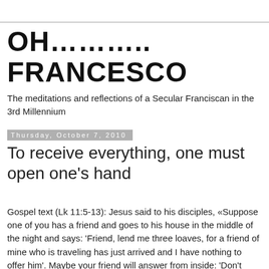OH……….. FRANCESCO
The meditations and reflections of a Secular Franciscan in the 3rd Millennium
Thursday, October 7, 2010
To receive everything, one must open one's hand
Gospel text (Lk 11:5-13): Jesus said to his disciples, «Suppose one of you has a friend and goes to his house in the middle of the night and says: 'Friend, lend me three loaves, for a friend of mine who is traveling has just arrived and I have nothing to offer him'. Maybe your friend will answer from inside: 'Don't bother me now; the door is locked and my children and I are in bed, so I can't get up and give you anything'. But I tell you, even though he will not get up and attend to you because you are a friend, yet he will get up because you are a bother to him, and he will give you all you